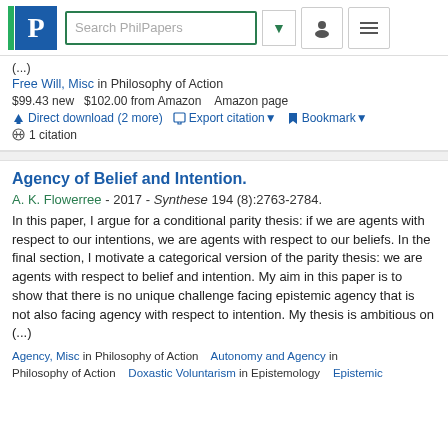[Figure (screenshot): PhilPapers navigation bar with logo, search box, dropdown arrow, user icon, and menu icon]
(...)
Free Will, Misc in Philosophy of Action
$99.43 new  $102.00 from Amazon  Amazon page
Direct download (2 more)  Export citation  Bookmark
1 citation
Agency of Belief and Intention.
A. K. Flowerree - 2017 - Synthese 194 (8):2763-2784.
In this paper, I argue for a conditional parity thesis: if we are agents with respect to our intentions, we are agents with respect to our beliefs. In the final section, I motivate a categorical version of the parity thesis: we are agents with respect to belief and intention. My aim in this paper is to show that there is no unique challenge facing epistemic agency that is not also facing agency with respect to intention. My thesis is ambitious on (...)
Agency, Misc in Philosophy of Action  Autonomy and Agency in Philosophy of Action  Doxastic Voluntarism in Epistemology  Epistemic